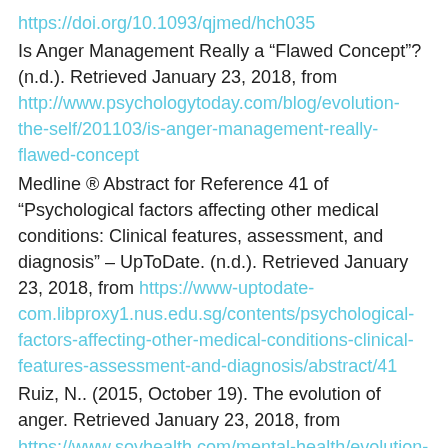https://doi.org/10.1093/qjmed/hch035
Is Anger Management Really a “Flawed Concept”? (n.d.). Retrieved January 23, 2018, from http://www.psychologytoday.com/blog/evolution-the-self/201103/is-anger-management-really-flawed-concept
Medline ® Abstract for Reference 41 of “Psychological factors affecting other medical conditions: Clinical features, assessment, and diagnosis” – UpToDate. (n.d.). Retrieved January 23, 2018, from https://www-uptodate-com.libproxy1.nus.edu.sg/contents/psychological-factors-affecting-other-medical-conditions-clinical-features-assessment-and-diagnosis/abstract/41
Ruiz, N.. (2015, October 19). The evolution of anger. Retrieved January 23, 2018, from https://www.sovhealth.com/mental-health/evolution-anger/